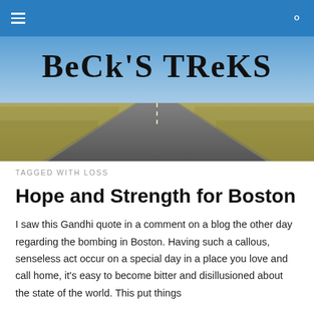Navigation bar with menu icon and search icon
[Figure (photo): Banner image of a long straight highway receding into the distance across flat prairie land under a blue sky, with the blog title 'Beck's Treks' overlaid in large bold serif text]
TAGGED WITH LOSS
Hope and Strength for Boston
I saw this Gandhi quote in a comment on a blog the other day regarding the bombing in Boston. Having such a callous, senseless act occur on a special day in a place you love and call home, it's easy to become bitter and disillusioned about the state of the world. This put things